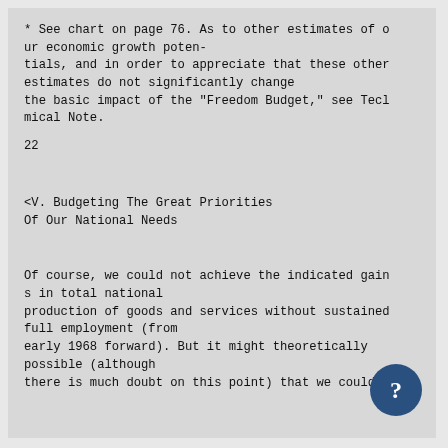* See chart on page 76. As to other estimates of our economic growth potentials, and in order to appreciate that these other estimates do not significantly change the basic impact of the "Freedom Budget," see Technical Note.
22
<V. Budgeting The Great Priorities Of Our National Needs
Of course, we could not achieve the indicated gains in total national production of goods and services without sustained full employment (from early 1968 forward). But it might theoretically possible (although there is much doubt on this point) that we could a